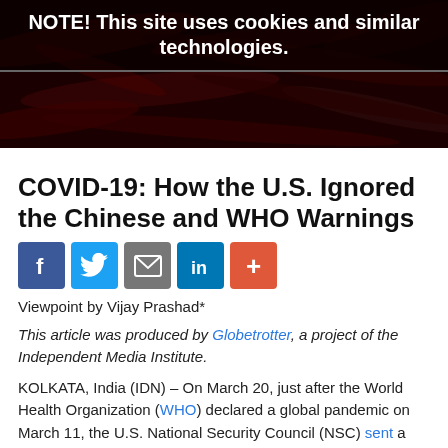NOTE! This site uses cookies and similar technologies.
[Figure (photo): Dark red banner image showing abstract blood vessel or organic texture in deep red/maroon tones with a cookie notice overlay]
COVID-19: How the U.S. Ignored the Chinese and WHO Warnings
[Figure (infographic): Social sharing buttons: Facebook (blue), Twitter (light blue), Email (gray), LinkedIn (dark blue), More/Plus (orange-red)]
Viewpoint by Vijay Prashad*
This article was produced by Globetrotter, a project of the Independent Media Institute.
KOLKATA, India (IDN) – On March 20, just after the World Health Organization (WHO) declared a global pandemic on March 11, the U.S. National Security Council (NSC) sent a cable to U.S. State Department instructing officials how they should speak about China and the novel coronavirus,